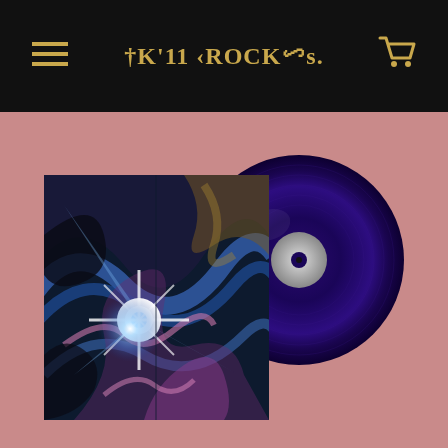Kill Rock Stars
[Figure (photo): Kill Rock Stars record label website screenshot showing a vinyl record product page. Black navigation header bar with hamburger menu icon on left, 'Kill Rock Stars' logo text in gold/mustard color in center, shopping cart icon on right. Below the header is a mauve/dusty pink background displaying a vinyl record album product: abstract swirling blue, purple, black and pink artwork on the album cover sleeve, with a deep blue/indigo colored vinyl record disc partially visible behind the sleeve on the right side.]